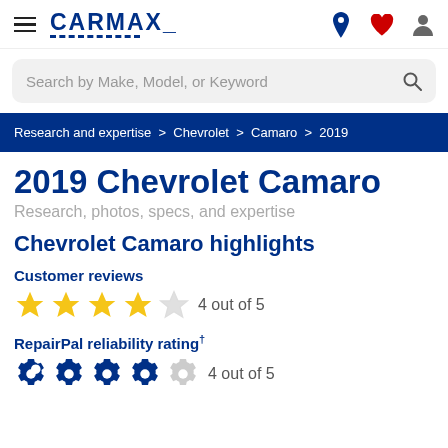CarMax navigation header with hamburger menu, CarMax logo, and icons for location, favorites, and account
Search by Make, Model, or Keyword
Research and expertise > Chevrolet > Camaro > 2019
2019 Chevrolet Camaro
Research, photos, specs, and expertise
Chevrolet Camaro highlights
Customer reviews
4 out of 5
RepairPal reliability rating† 4 out of 5